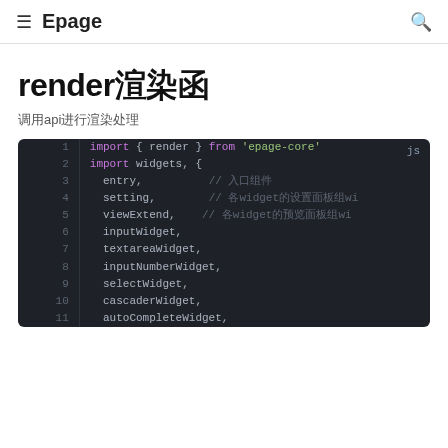≡  Epage
render渲染函
调用api进行渲染处理
[Figure (screenshot): Dark-themed code block showing JavaScript import statements for render from 'epage-core' and widget imports including entry, setting, viewExtend, inputWidget, textareaWidget, inputNumberWidget, selectWidget, cascaderWidget, autoCompleteWidget with line numbers 1-11]